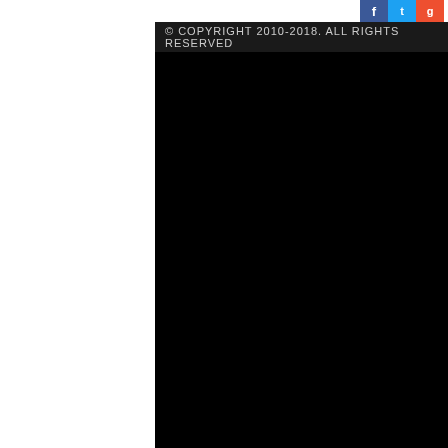[Figure (other): Social media icons: Facebook (blue), Twitter (light blue), RSS/Google+ (red) partially visible at top right]
© COPYRIGHT 2010-2018. ALL RIGHTS RESERVED
[Figure (other): Large black rectangle filling most of the page content area]